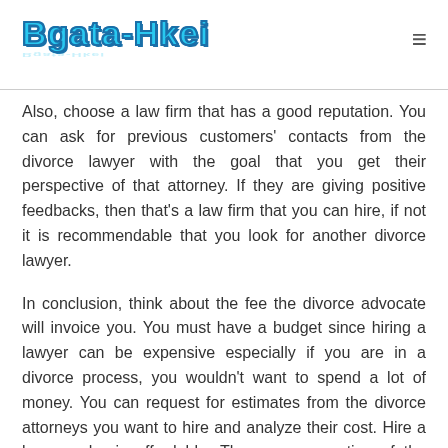Bgata-Hkei
Also, choose a law firm that has a good reputation. You can ask for previous customers' contacts from the divorce lawyer with the goal that you get their perspective of that attorney. If they are giving positive feedbacks, then that's a law firm that you can hire, if not it is recommendable that you look for another divorce lawyer.
In conclusion, think about the fee the divorce advocate will invoice you. You must have a budget since hiring a lawyer can be expensive especially if you are in a divorce process, you wouldn't want to spend a lot of money. You can request for estimates from the divorce attorneys you want to hire and analyze their cost. Hire a lawyer who is affordable. These are a portion of the things to have as the top priority when searching for an ideal divorce advocate.